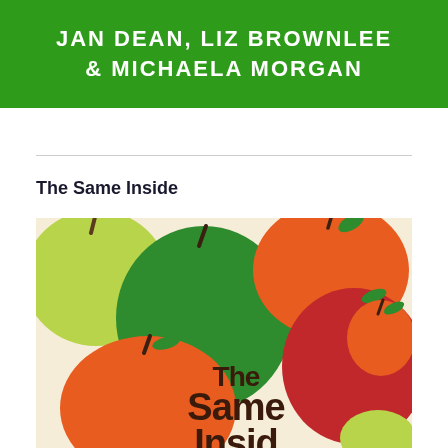JAN DEAN, LIZ BROWNLEE & MICHAELA MORGAN
The Same Inside
[Figure (illustration): Book cover of 'The Same Inside' showing colorful illustrated apples in green, orange, and red on a cream background, with the title text 'The Same Inside' in dark brown hand-lettered style font]